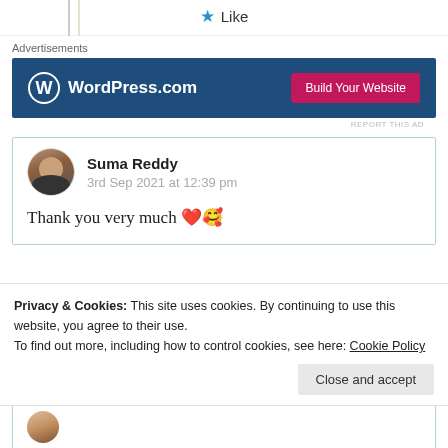[Figure (other): Star like button with text 'Like' in center top area]
Advertisements
[Figure (other): WordPress.com advertisement banner with blue background and pink 'Build Your Website' button]
REPORT THIS AD
Suma Reddy
3rd Sep 2021 at 12:39 pm
Thank you very much ❤️🥰
Privacy & Cookies: This site uses cookies. By continuing to use this website, you agree to their use.
To find out more, including how to control cookies, see here: Cookie Policy
Close and accept